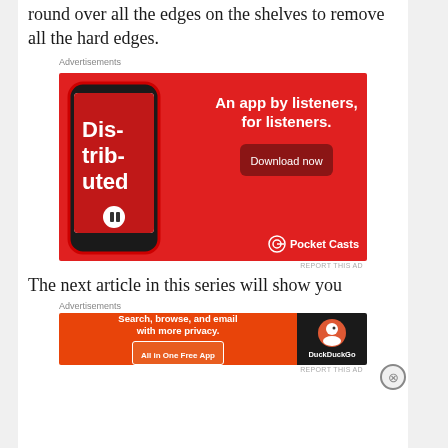round over all the edges on the shelves to remove all the hard edges.
Advertisements
[Figure (photo): Pocket Casts advertisement showing a smartphone with 'Distributed' podcast app. Red background with white text: 'An app by listeners, for listeners.' and a 'Download now' button. Pocket Casts logo at bottom right.]
REPORT THIS AD
The next article in this series will show you
Advertisements
[Figure (photo): DuckDuckGo advertisement. Orange left section with text 'Search, browse, and email with more privacy. All in One Free App'. Dark right section with DuckDuckGo duck logo and text 'DuckDuckGo'.]
REPORT THIS AD